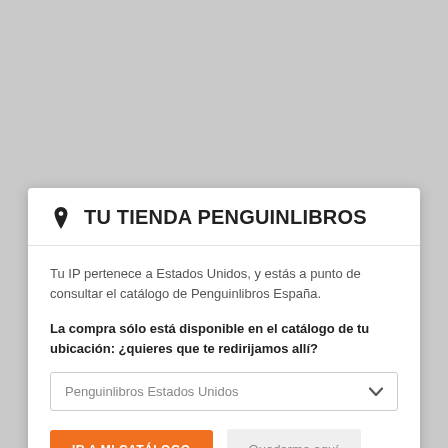TU TIENDA PENGUINLIBROS
Tu IP pertenece a Estados Unidos, y estás a punto de consultar el catálogo de Penguinlibros España.
La compra sólo está disponible en el catálogo de tu ubicación: ¿quieres que te redirijamos allí?
Penguinlibros Estados Unidos
IR A MI CATÁLOGO
Quedarme aquí